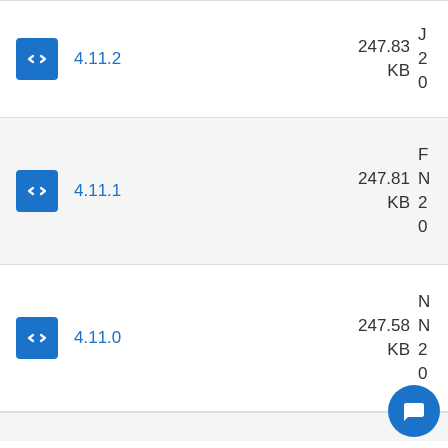4.11.2 — 247.83 KB
4.11.1 — 247.81 KB
4.11.0 — 247.58 KB